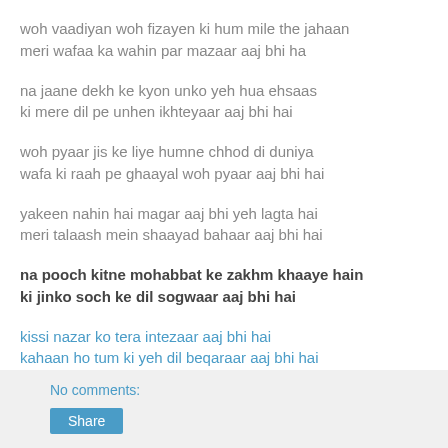woh vaadiyan woh fizayen ki hum mile the jahaan
meri wafaa ka wahin par mazaar aaj bhi ha
na jaane dekh ke kyon unko yeh hua ehsaas
ki mere dil pe unhen ikhteyaar aaj bhi hai
woh pyaar jis ke liye humne chhod di duniya
wafa ki raah pe ghaayal woh pyaar aaj bhi hai
yakeen nahin hai magar aaj bhi yeh lagta hai
meri talaash mein shaayad bahaar aaj bhi hai
na pooch kitne mohabbat ke zakhm khaaye hain
ki jinko soch ke dil sogwaar aaj bhi hai
kissi nazar ko tera intezaar aaj bhi hai
kahaan ho tum ki yeh dil beqaraar aaj bhi hai
No comments:
Share